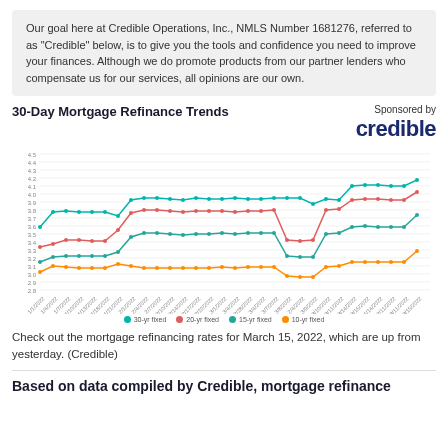Our goal here at Credible Operations, Inc., NMLS Number 1681276, referred to as "Credible" below, is to give you the tools and confidence you need to improve your finances. Although we do promote products from our partner lenders who compensate us for our services, all opinions are our own.
30-Day Mortgage Refinance Trends
[Figure (line-chart): Line chart showing 30-day mortgage refinance trends with four series: 30-yr fixed, 20-yr fixed, 15-yr fixed, and 10-yr fixed from approximately 1/1/2022 to 3/15/2022. The 30-yr and 20-yr fixed rates trend highest (around 3.8-4.2%), while 15-yr and 10-yr fixed rates are lower (around 3.0-3.5%). All rates show an upward trend toward the end of the period.]
Check out the mortgage refinancing rates for March 15, 2022, which are up from yesterday. (Credible)
Based on data compiled by Credible, mortgage refinance